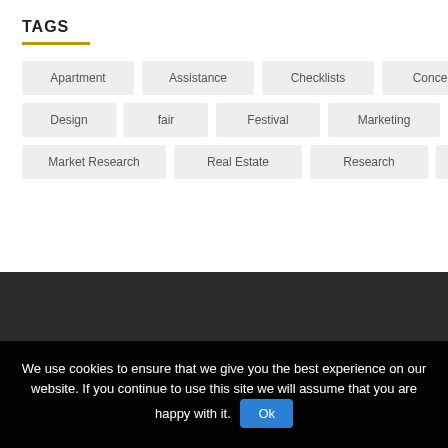TAGS
Apartment
Assistance
Checklists
Concepts
Design
fair
Festival
Marketing
Market Research
Real Estate
Research
Tips
We use cookies to ensure that we give you the best experience on our website. If you continue to use this site we will assume that you are happy with it.
Ok